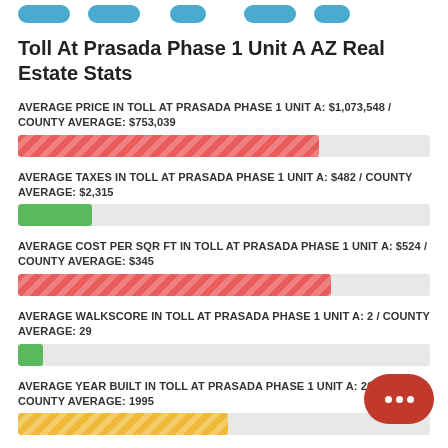Toll At Prasada Phase 1 Unit A AZ Real Estate Stats
AVERAGE PRICE IN TOLL AT PRASADA PHASE 1 UNIT A: $1,073,548 / COUNTY AVERAGE: $753,039
[Figure (bar-chart): Average Price]
AVERAGE TAXES IN TOLL AT PRASADA PHASE 1 UNIT A: $482 / COUNTY AVERAGE: $2,315
[Figure (bar-chart): Average Taxes]
AVERAGE COST PER SQR FT IN TOLL AT PRASADA PHASE 1 UNIT A: $524 / COUNTY AVERAGE: $345
[Figure (bar-chart): Average Cost Per Sqr Ft]
AVERAGE WALKSCORE IN TOLL AT PRASADA PHASE 1 UNIT A: 2 / COUNTY AVERAGE: 29
[Figure (bar-chart): Average Walkscore]
AVERAGE YEAR BUILT IN TOLL AT PRASADA PHASE 1 UNIT A: 2020 / COUNTY AVERAGE: 1995
[Figure (bar-chart): Average Year Built]